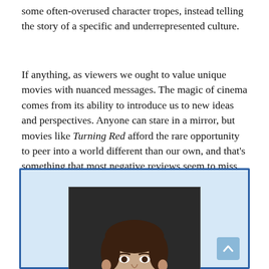some often-overused character tropes, instead telling the story of a specific and underrepresented culture.
If anything, as viewers we ought to value unique movies with nuanced messages. The magic of cinema comes from its ability to introduce us to new ideas and perspectives. Anyone can stare in a mirror, but movies like Turning Red afford the rare opportunity to peer into a world different than our own, and that's something that most negative reviews seem to miss.
[Figure (photo): Author headshot photo inside a light blue bordered box. Young man with dark hair wearing a gray shirt, smiling, against a dark background. A scroll-to-top button is in the bottom right corner of the box.]